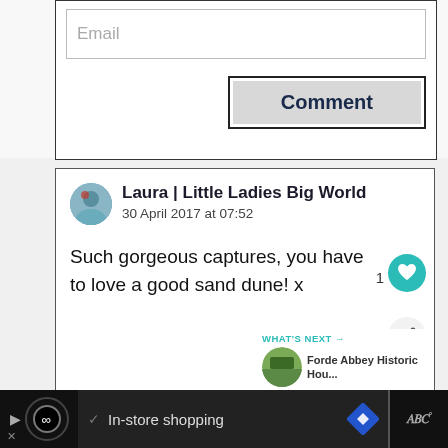[Figure (screenshot): Email input field placeholder with text 'Email']
[Figure (screenshot): Comment submit button with bold dark blue text 'Comment' on grey background with dark border]
Laura | Little Ladies Big World
30 April 2017 at 07:52
Such gorgeous captures, you have to love a good sand dune! x
WHAT'S NEXT → Forde Abbey Historic Hou...
↩ Reply
[Figure (screenshot): Ad bar at bottom with play button, infinity logo, In-store shopping text, navigation arrow icon, and Tidal music icon]